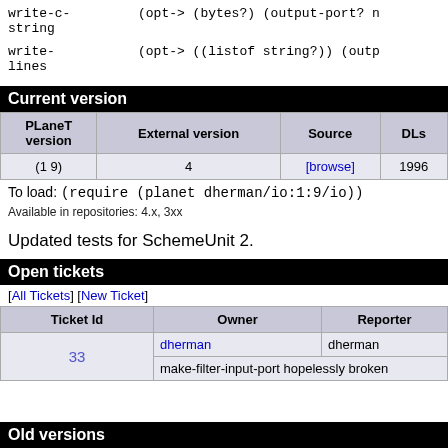| write-c-string | (opt-> (bytes?) (output-port? n |
| write-lines | (opt-> ((listof string?)) (outp |
Current version
| PLaneT version | External version | Source | DLs |
| --- | --- | --- | --- |
| (1 9) | 4 | [browse] | 1996 |
To load: (require (planet dherman/io:1:9/io))
Available in repositories: 4.x, 3xx
Updated tests for SchemeUnit 2.
Open tickets
[All Tickets] [New Ticket]
| Ticket Id | Owner | Reporter |
| --- | --- | --- |
| 33 | dherman | dherman |
|  | make-filter-input-port hopelessly broken |  |
Old versions